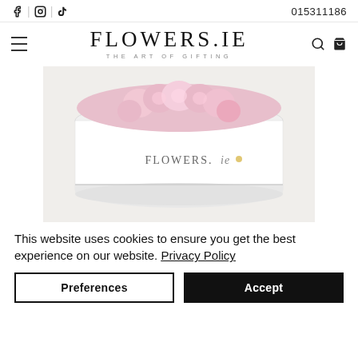f | ☐ | ♪  015311186
FLOWERS.IE
THE ART OF GIFTING
[Figure (photo): A white round hat box with pink flowers on top, branded with 'FLOWERS.ie' text on the side, placed on a light surface]
This website uses cookies to ensure you get the best experience on our website. Privacy Policy
Preferences  Accept